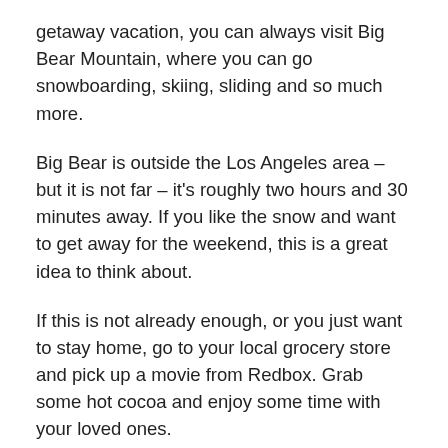getaway vacation, you can always visit Big Bear Mountain, where you can go snowboarding, skiing, sliding and so much more.
Big Bear is outside the Los Angeles area – but it is not far – it's roughly two hours and 30 minutes away. If you like the snow and want to get away for the weekend, this is a great idea to think about.
If this is not already enough, or you just want to stay home, go to your local grocery store and pick up a movie from Redbox. Grab some hot cocoa and enjoy some time with your loved ones.
With so many options to get you into the Christmas spirit, here are some ideas you can consider doing this year to make the most of the Christmas season.